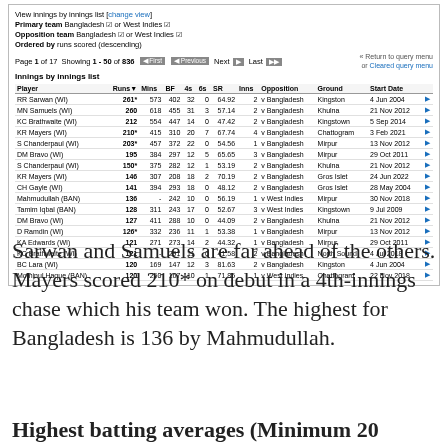| Player | Runs | Mins | BF | 4s | 6s | SR | Inns | Opposition | Ground | Start Date |
| --- | --- | --- | --- | --- | --- | --- | --- | --- | --- | --- |
| RR Sarwan (WI) | 261* | 573 | 402 | 32 | 0 | 64.92 | 2 | v Bangladesh | Kingston | 4 Jun 2004 |
| MN Samuels (WI) | 260 | 618 | 455 | 31 | 3 | 57.14 | 2 | v Bangladesh | Khulna | 21 Nov 2012 |
| KC Brathwaite (WI) | 212 | 554 | 447 | 14 | 0 | 47.42 | 2 | v Bangladesh | Kingstown | 5 Sep 2014 |
| KR Mayers (WI) | 210* | 415 | 310 | 20 | 7 | 67.74 | 4 | v Bangladesh | Chattogram | 3 Feb 2021 |
| S Chanderpaul (WI) | 203* | 457 | 372 | 22 | 0 | 54.56 | 1 | v Bangladesh | Mirpur | 13 Nov 2012 |
| DM Bravo (WI) | 195 | 384 | 297 | 12 | 5 | 65.65 | 3 | v Bangladesh | Mirpur | 29 Oct 2011 |
| S Chanderpaul (WI) | 150* | 375 | 282 | 12 | 1 | 53.19 | 2 | v Bangladesh | Khulna | 21 Nov 2012 |
| KR Mayers (WI) | 146 | 307 | 208 | 18 | 2 | 70.19 | 2 | v Bangladesh | Gros Islet | 24 Jun 2022 |
| CH Gayle (WI) | 141 | 394 | 293 | 18 | 0 | 48.12 | 2 | v Bangladesh | Gros Islet | 28 May 2004 |
| Mahmudullah (BAN) | 136 | - | 242 | 10 | 0 | 56.19 | 1 | v West Indies | Mirpur | 30 Nov 2018 |
| Tamim Iqbal (BAN) | 128 | 311 | 243 | 17 | 0 | 52.67 | 3 | v West Indies | Kingstown | 9 Jul 2009 |
| DM Bravo (WI) | 127 | 411 | 288 | 10 | 0 | 44.09 | 2 | v Bangladesh | Khulna | 21 Nov 2012 |
| D Ramdin (WI) | 126* | 332 | 236 | 11 | 1 | 53.38 | 1 | v Bangladesh | Mirpur | 13 Nov 2012 |
| KA Edwards (WI) | 121 | 271 | 273 | 14 | 2 | 44.32 | 1 | v Bangladesh | Mirpur | 29 Oct 2011 |
| KC Brathwaite (WI) | 121 | - | 291 | 11 | 0 | 41.58 | 2 | v Bangladesh | North Sound | 4 Jul 2018 |
| BC Lara (WI) | 120 | 169 | 147 | 12 | 3 | 81.63 | 2 | v Bangladesh | Kingston | 4 Jun 2004 |
| Mominul Haque (BAN) | 120 | 250 | 167 | 10 | 1 | 71.85 | 1 | v West Indies | Chattogram | 22 Nov 2018 |
Sarwan and Samuels are far ahead of the others. Mayers scored 210* on debut in a 4th-innings chase which his team won. The highest for Bangladesh is 136 by Mahmudullah.
Highest batting averages (Minimum 20